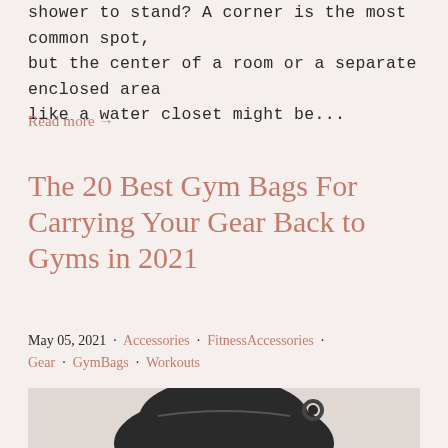shower to stand? A corner is the most common spot, but the center of a room or a separate enclosed area like a water closet might be...
Read more →
The 20 Best Gym Bags For Carrying Your Gear Back to Gyms in 2021
May 05, 2021 · Accessories · FitnessAccessories · Gear · GymBags · Workouts
[Figure (photo): Black gym bag photographed in black and white against a light background]